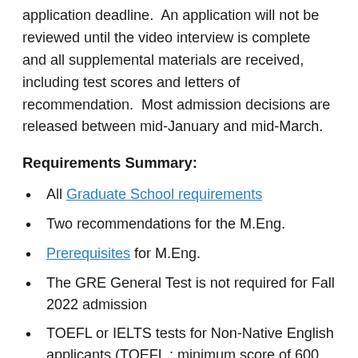application deadline.  An application will not be reviewed until the video interview is complete and all supplemental materials are received, including test scores and letters of recommendation.  Most admission decisions are released between mid-January and mid-March.
Requirements Summary:
All Graduate School requirements
Two recommendations for the M.Eng.
Prerequisites for M.Eng.
The GRE General Test is not required for Fall 2022 admission
TOEFL or IELTS tests for Non-Native English applicants (TOEFL : minimum score of 600 paper-